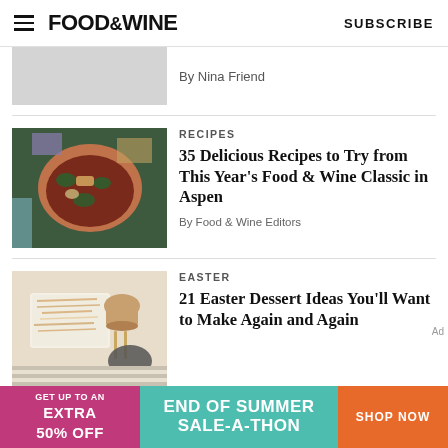FOOD&WINE   SUBSCRIBE
By Nina Friend
RECIPES
35 Delicious Recipes to Try from This Year's Food & Wine Classic in Aspen
By Food & Wine Editors
EASTER
21 Easter Dessert Ideas You'll Want to Make Again and Again
[Figure (photo): Food & Wine advertisement banner: GET UP TO AN EXTRA 50% OFF | END OF SUMMER SALE-A-THON | SHOP NOW]